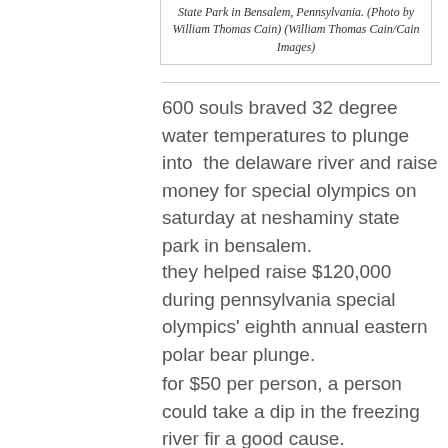State Park in Bensalem, Pennsylvania. (Photo by William Thomas Cain) (William Thomas Cain/Cain Images)
600 souls braved 32 degree water temperatures to plunge into the delaware river and raise money for special olympics on saturday at neshaminy state park in bensalem.
they helped raise $120,000 during pennsylvania special olympics' eighth annual eastern polar bear plunge.
for $50 per person, a person could take a dip in the freezing river fir a good cause.
participants waded and splashed their way out into the water and around a banana rescue boat while high-fiving officers as